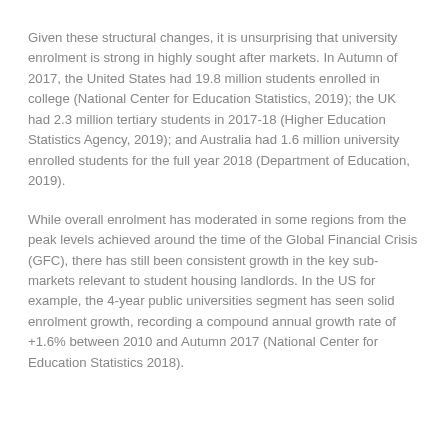Given these structural changes, it is unsurprising that university enrolment is strong in highly sought after markets. In Autumn of 2017, the United States had 19.8 million students enrolled in college (National Center for Education Statistics, 2019); the UK had 2.3 million tertiary students in 2017-18 (Higher Education Statistics Agency, 2019); and Australia had 1.6 million university enrolled students for the full year 2018 (Department of Education, 2019).
While overall enrolment has moderated in some regions from the peak levels achieved around the time of the Global Financial Crisis (GFC), there has still been consistent growth in the key sub-markets relevant to student housing landlords. In the US for example, the 4-year public universities segment has seen solid enrolment growth, recording a compound annual growth rate of +1.6% between 2010 and Autumn 2017 (National Center for Education Statistics 2018).